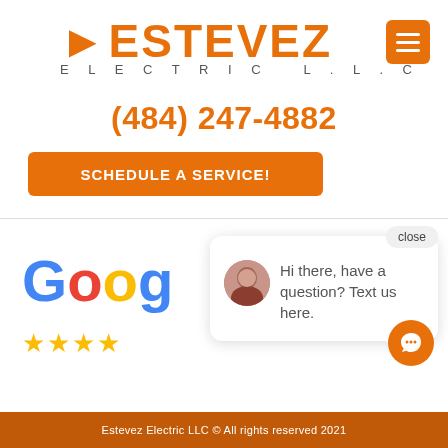[Figure (logo): Estevez Electric L.L.C orange logo with lightning bolt E]
[Figure (screenshot): Orange hamburger menu button (three horizontal lines) in top right corner]
(484) 247-4882
SCHEDULE A SERVICE!
[Figure (logo): Google logo letters G-o-o-g with partial e cut off, in Google brand colors]
[Figure (other): Four gold star rating icons]
[Figure (screenshot): Chat popup with close button, female avatar photo, and text: Hi there, have a question? Text us here.]
[Figure (other): Orange circular chat icon button in bottom right]
Estevez Electric LLC © All rights reserved 2021